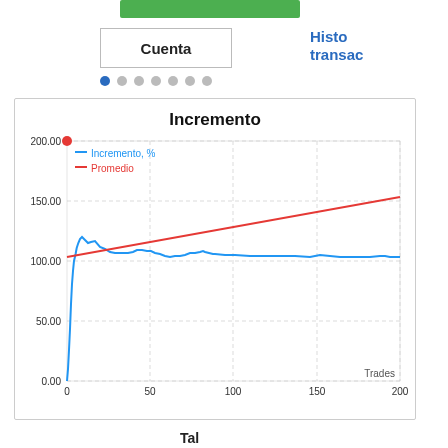[Figure (screenshot): Green navigation bar at top]
Cuenta
Histo transac
[Figure (line-chart): Incremento]
Trades